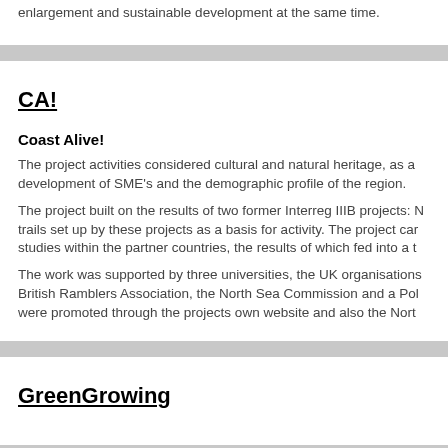enlargement and sustainable development at the same time.
CA!
Coast Alive!
The project activities considered cultural and natural heritage, as a development of SME's and the demographic profile of the region.
The project built on the results of two former Interreg IIIB projects: N trails set up by these projects as a basis for activity. The project car studies within the partner countries, the results of which fed into a t
The work was supported by three universities, the UK organisations British Ramblers Association, the North Sea Commission and a Pol were promoted through the projects own website and also the Nort
GreenGrowing